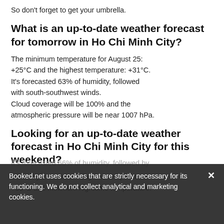So don't forget to get your umbrella.
What is an up-to-date weather forecast for tomorrow in Ho Chi Minh City?
The minimum temperature for August 25: +25°C and the highest temperature: +31°C. It's forecasted 63% of humidity, followed with south-southwest winds. Cloud coverage will be 100% and the atmospheric pressure will be near 1007 hPa.
Looking for an up-to-date weather forecast in Ho Chi Minh City for this weekend?
Saturday's maximum daytime temperature: +33°C and minimum nighttime temperature:
Booked.net uses cookies that are strictly necessary for its functioning. We do not collect analytical and marketing cookies.